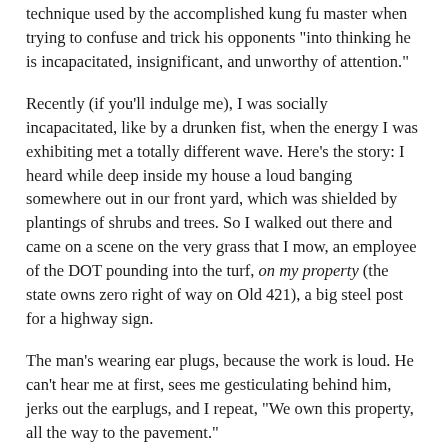technique used by the accomplished kung fu master when trying to confuse and trick his opponents "into thinking he is incapacitated, insignificant, and unworthy of attention."
Recently (if you'll indulge me), I was socially incapacitated, like by a drunken fist, when the energy I was exhibiting met a totally different wave. Here's the story: I heard while deep inside my house a loud banging somewhere out in our front yard, which was shielded by plantings of shrubs and trees. So I walked out there and came on a scene on the very grass that I mow, an employee of the DOT pounding into the turf, on my property (the state owns zero right of way on Old 421), a big steel post for a highway sign.
The man's wearing ear plugs, because the work is loud. He can't hear me at first, sees me gesticulating behind him, jerks out the earplugs, and I repeat, "We own this property, all the way to the pavement."
That tickled him. "You probably own to the center of the pavement." He said it in the best good humor, and I knew he was right, for when the old 421 was built in the early '30s, the state acquired rights of way. I should do the homework to see what the